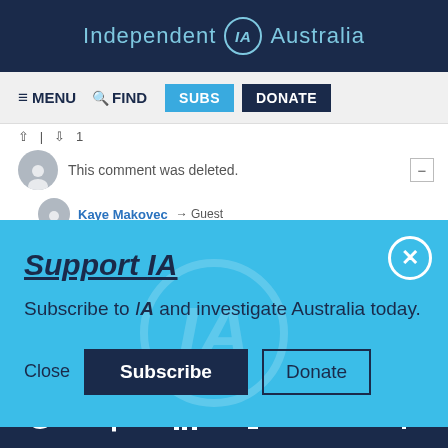Independent IA Australia
≡ MENU  🔍 FIND  SUBS  DONATE
↑ | ↓ 1
This comment was deleted.
Kaye Makovec → Guest
Support IA
Subscribe to IA and investigate Australia today.
Close  Subscribe  Donate
Twitter  Facebook  LinkedIn  Flipboard  Link  Plus